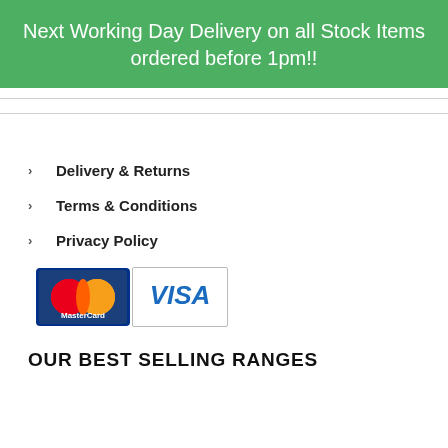Next Working Day Delivery on all Stock Items ordered before 1pm!!
Delivery & Returns
Terms & Conditions
Privacy Policy
[Figure (logo): MasterCard and VISA payment logos side by side]
OUR BEST SELLING RANGES